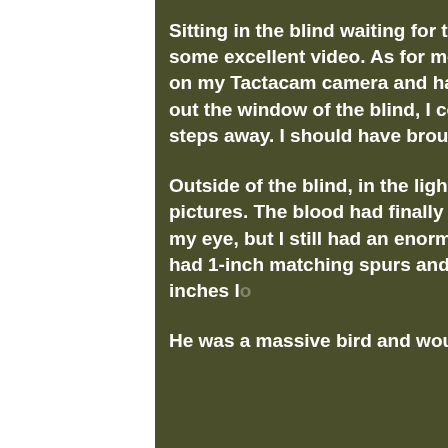Sitting in the blind waiting for the blood to stop, Dan said got some excellent video. As for me, I completely forgot to turn on my Tactacam camera and had zero video footage. Looking out the window of the blind, I could see the gobbler about 15 steps away. I should have brought my bow for this hunt.
Outside of the blind, in the light fog, Dan and I took many pictures. The blood had finally stopped from the gash above my eye, but I still had an enormous headache. The gobbler had 1-inch matching spurs and a beard that was almost 9 inches long. He was a massive bird and would
[Figure (photo): Camouflage hunting gear and equipment visible on the right side of the image, dark olive/military green tones with patterned fabric and what appears to be a rifle or bow.]